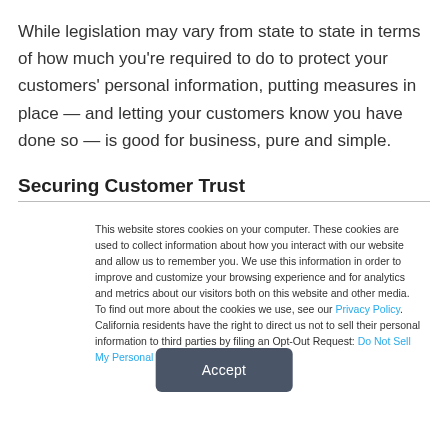While legislation may vary from state to state in terms of how much you're required to do to protect your customers' personal information, putting measures in place — and letting your customers know you have done so — is good for business, pure and simple.
Securing Customer Trust
This website stores cookies on your computer. These cookies are used to collect information about how you interact with our website and allow us to remember you. We use this information in order to improve and customize your browsing experience and for analytics and metrics about our visitors both on this website and other media. To find out more about the cookies we use, see our Privacy Policy. California residents have the right to direct us not to sell their personal information to third parties by filing an Opt-Out Request: Do Not Sell My Personal Info.
Accept